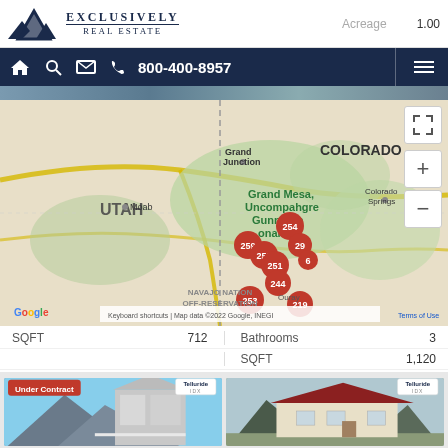[Figure (logo): Exclusively Real Estate logo with mountain icon]
Acreage   1.00
800-400-8957
[Figure (map): Google Map showing Colorado/Utah region with multiple red numbered property markers (254, 259, 258, 29, 251, 6, 244, 253, 219) clustered in Grand Mesa Uncompahgre Gunnison National area near Ouray/Montrose, Colorado. Shows UTAH, COLORADO labels, Moab, Grand Junction, Colorado Springs, Navajo Nation Off-Reservation. Map data 2022 Google, INEGI.]
SQFT   712
Bathrooms   3
SQFT   1,120
[Figure (photo): Real estate property photo showing a multi-story building with white siding, mountains in background, with Under Contract badge and Telluride IDX watermark]
[Figure (photo): Real estate property photo showing a house with red metal roof, mountains in background, with Telluride IDX watermark]